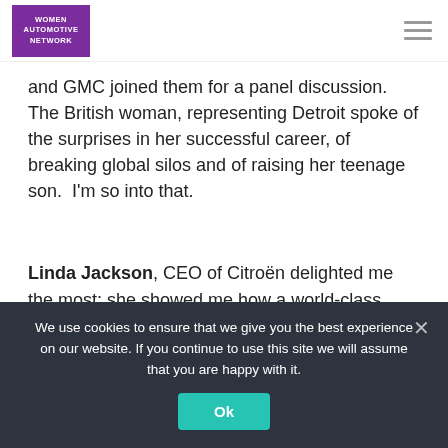WOMEN AUTOMOTIVE NETWORK
and GMC joined them for a panel discussion.  The British woman, representing Detroit spoke of the surprises in her successful career, of breaking global silos and of raising her teenage son.  I'm so into that.
Linda Jackson, CEO of Citroën delighted me the most: she showed me how a world-class woman leader can be strong and serious all the while being approachable, feminine, and
We use cookies to ensure that we give you the best experience on our website. If you continue to use this site we will assume that you are happy with it.
Ok